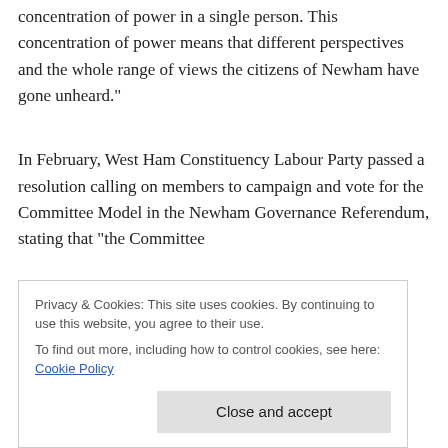concentration of power in a single person. This concentration of power means that different perspectives and the whole range of views the citizens of Newham have gone unheard."
In February, West Ham Constituency Labour Party passed a resolution calling on members to campaign and vote for the Committee Model in the Newham Governance Referendum, stating that “the Committee committee."
Privacy & Cookies: This site uses cookies. By continuing to use this website, you agree to their use. To find out more, including how to control cookies, see here: Cookie Policy